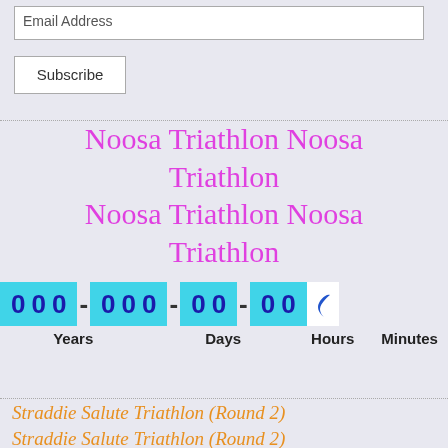Email Address
Subscribe
Noosa Triathlon Noosa Triathlon Noosa Triathlon Noosa Triathlon
[Figure (infographic): Countdown timer showing 0 0 0 - 0 0 0 - 0 0 - 0 0 with labels Years, Days, Hours, Minutes on cyan/turquoise background blocks]
Straddie Salute Triathlon (Round 2) Straddie Salute Triathlon (Round 2) Straddie Salute Triathlon (Round 2)